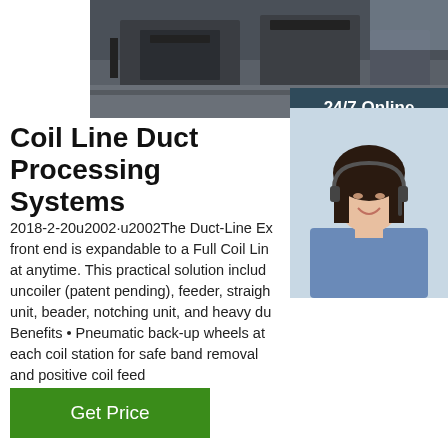[Figure (photo): Industrial machinery / coil line duct processing equipment photo at top of page]
[Figure (photo): 24/7 Online customer service agent (woman with headset smiling) with chat overlay]
Coil Line Duct Processing Systems
2018-2-20u2002·u2002The Duct-Line Ex front end is expandable to a Full Coil Lin at anytime. This practical solution includ uncoiler (patent pending), feeder, straigh unit, beader, notching unit, and heavy du Benefits • Pneumatic back-up wheels at each coil station for safe band removal and positive coil feed
[Figure (other): Get Price green button]